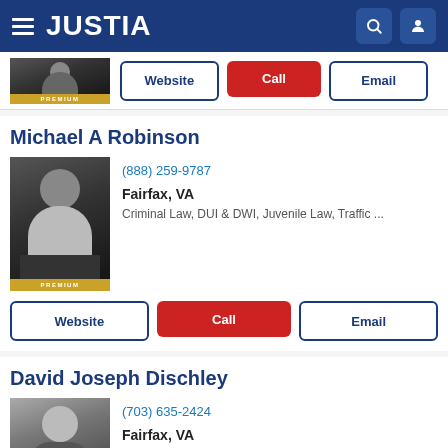JUSTIA
[Figure (photo): Partial attorney photo with PREMIUM badge]
Website  Call  Email
Michael A Robinson
[Figure (photo): Michael A Robinson attorney photo with PREMIUM badge]
(888) 259-9787
Fairfax, VA
Criminal Law, DUI & DWI, Juvenile Law, Traffic ...
Website  Call  Email
David Joseph Dischley
[Figure (photo): David Joseph Dischley attorney photo]
(703) 635-2424
Fairfax, VA